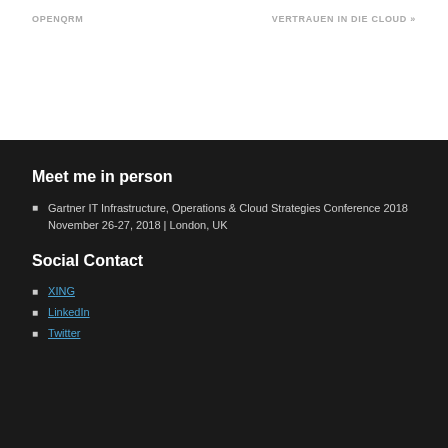OPENQRM
VERTRAUEN IN DIE CLOUD »
Meet me in person
Gartner IT Infrastructure, Operations & Cloud Strategies Conference 2018
November 26-27, 2018 | London, UK
Social Contact
XING
LinkedIn
Twitter